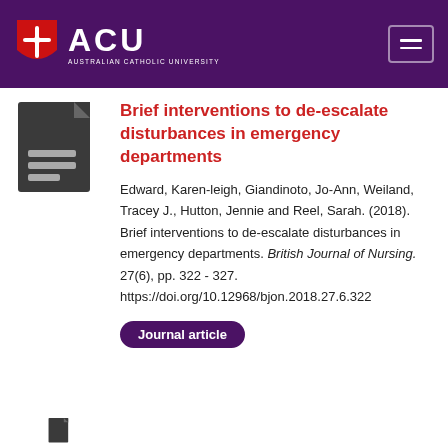ACU — Australian Catholic University
Brief interventions to de-escalate disturbances in emergency departments
Edward, Karen-leigh, Giandinoto, Jo-Ann, Weiland, Tracey J., Hutton, Jennie and Reel, Sarah. (2018). Brief interventions to de-escalate disturbances in emergency departments. British Journal of Nursing. 27(6), pp. 322 - 327. https://doi.org/10.12968/bjon.2018.27.6.322
Journal article